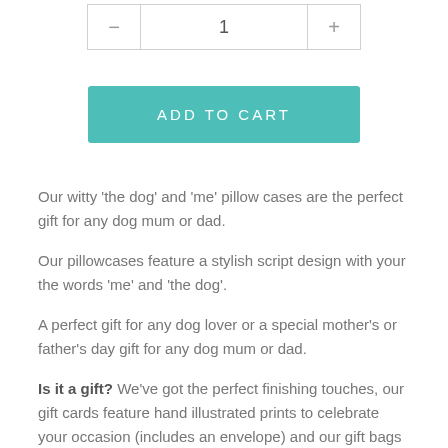| − | 1 | + |
| --- | --- | --- |
ADD TO CART
Our witty 'the dog' and 'me' pillow cases are the perfect gift for any dog mum or dad.
Our pillowcases feature a stylish script design with your the words 'me' and 'the dog'.
A perfect gift for any dog lover or a special mother's or father's day gift for any dog mum or dad.
Is it a gift? We've got the perfect finishing touches, our gift cards feature hand illustrated prints to celebrate your occasion (includes an envelope) and our gift bags are the ideal way to